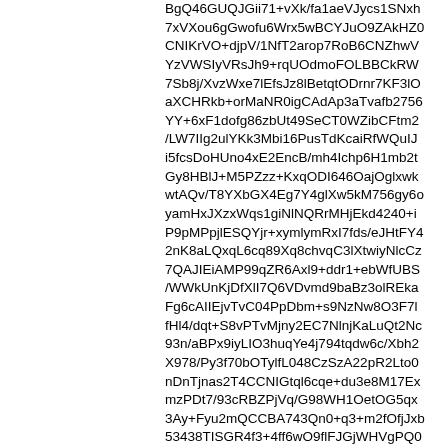BgQ46GUQJGii71+vXk/fa1aeVJycs1SNxh... 7xVXou6gGwofu6Wrx5wBCYJuO9ZAkHZ... CNIKrVO+djpV/1NfT2arop7RoB6CNZhwV... YzVWSIyVRsJh9+rqUOdmoFOLBBCkRW... 7Sb8j/XvzWxe7lEfsJz8lBetqtODrnr7KF3lO... aXCHRkb+orMaNR0igCAdAp3aTvafb2756... YY+6xF1dofg86zbUt49SeCT0WZibCFtm2... /LW7IIg2ulYKk3Mbi16PusTdKcaiRfWQuIJ... i5fcsDoHUno4xE2EncB/mh4Ichp6H1mb2t... Gy8HBlJ+M5PZzz+KxqODI646OajOglxwk... wtAQv/T8YXbGX4Eg7Y4glXw5kM756gy6o... yamHxJXzxWqs1giNlNQRrMHjEkd4240+i... P9pMPpjlESQYjr+xymlymRxI7fds/eJHtFY... 2nK8aLQxqL6cq89Xq8chvqC3lXtwiyNIcCz... 7QAJIEiAMP99qZR6Axl9+ddr1+ebWfUBS... /WWkUnKjDfXlI7Q6VDvmd9baBz3olREka... Fg6cAIIEjvTvC04PpDbm+s9NzNw8O3F7l... fHl4/dqt+S8vPTvMjny2EC7NlnjKaLuQt2Nc... 93n/aBPx9iyLIO3huqYe4j794tqdw6c/Xbh2... X978/Py3f70bOTylfL048CzSzA22pR2Lto0... nDnTjnas2T4CCNIGtql6cqe+du3e8M17Ex... mzPDt7/93cRBZPjVq/G98WH1OetOG5qx... 3Ay+Fyu2mQCCBA743Qn0+q3+m2fOfjJxb... 53438TISGR4f3+4ff6wO9flFJGjWHVgPQ... ieU6QQBBgqWsbpDaTv68exBxbn068fLgy... iXF1AOvxpd7ejfF3byC3g23Eap0hgCCBcp... KQIIEiDp6e2Z+tkX6tKrz29d+HRUvX/cHH4... XhtV38/v3h0eHR0fP1BHeDmCFSDnTi6F... Sh0lgCDB4d5JzvRv7kQOb12Y2IuoE4TKj... CTKs3kDGn80f3OQUSGCUo70QggRFvL... 8a7Mvc3Dw9i5T1/cfDfEGr1/3Pv/NDCuvc...